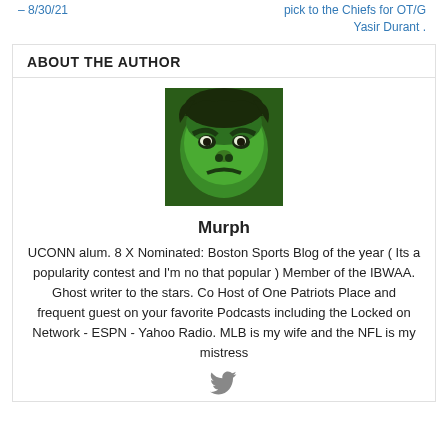– 8/30/21
pick to the Chiefs for OT/G Yasir Durant .
ABOUT THE AUTHOR
[Figure (photo): Profile photo of Murph, showing the Hulk character with green skin and angry expression]
Murph
UCONN alum. 8 X Nominated: Boston Sports Blog of the year ( Its a popularity contest and I'm no that popular ) Member of the IBWAA. Ghost writer to the stars. Co Host of One Patriots Place and frequent guest on your favorite Podcasts including the Locked on Network - ESPN - Yahoo Radio. MLB is my wife and the NFL is my mistress
[Figure (logo): Twitter bird icon]